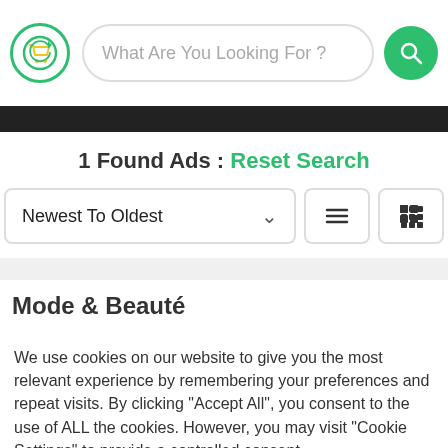[Figure (screenshot): E-commerce site header with logo, search bar 'What Are You Looking For ?' and green search button]
1 Found Ads : Reset Search
Newest To Oldest
Mode & Beauté
We use cookies on our website to give you the most relevant experience by remembering your preferences and repeat visits. By clicking "Accept All", you consent to the use of ALL the cookies. However, you may visit "Cookie Settings" to provide a controlled consent.
Cookie Settings
Filters